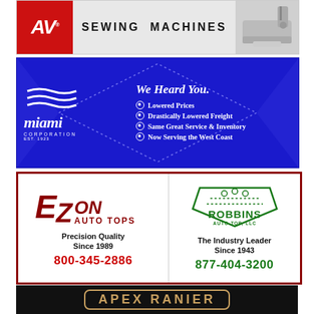[Figure (illustration): Advertisement for sewing machines featuring a red AV logo, an image of a sewing machine, and text 'SEWING MACHINES']
[Figure (illustration): Advertisement for Miami Corporation with blue background featuring diamond stitch pattern, tagline 'We Heard You.', bullet points: Lowered Prices, Drastically Lowered Freight, Same Great Service & Inventory, Now Serving the West Coast]
[Figure (illustration): Combined advertisement for EZon Auto Tops (Precision Quality Since 1989, 800-345-2886) and Robbins Auto Top LLC (The Industry Leader Since 1943, 877-404-3200) in dark red border]
[Figure (illustration): Partial advertisement on black background with gold text, partially visible company name starting with 'APEX' or similar]